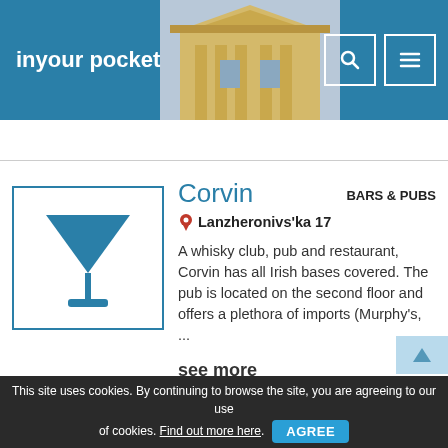inyour pocket
[Figure (logo): Martini/cocktail glass icon in blue inside a blue-bordered square]
Corvin
BARS & PUBS
Lanzheronivs'ka 17
A whisky club, pub and restaurant, Corvin has all Irish bases covered. The pub is located on the second floor and offers a plethora of imports (Murphy's, ...
see more
This site uses cookies. By continuing to browse the site, you are agreeing to our use of cookies. Find out more here. AGREE